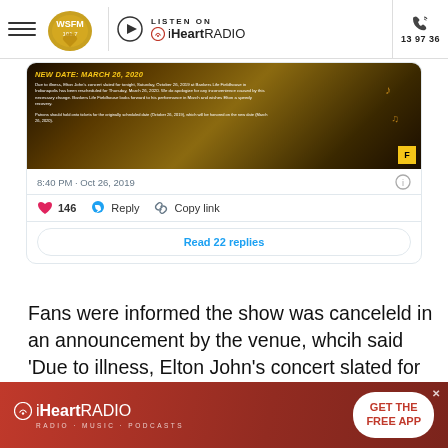WSFM 101.7 | Listen on iHeartRadio | 13 97 36
[Figure (screenshot): Tweet card showing a Bankers Life Fieldhouse announcement image about Elton John concert rescheduled to March 26, 2020, with timestamp 8:40 PM Oct 26, 2019, 146 likes, Reply and Copy link actions, and Read 22 replies button]
Fans were informed the show was canceleld in an announcement by the venue, whcih said 'Due to illness, Elton John's concert slated for tonight, Saturday, October 26, 2019 at Bankers Life Fieldhouse has been rescheduled for Thursday,
[Figure (screenshot): iHeartRadio advertisement banner at the bottom with GET THE FREE APP button]